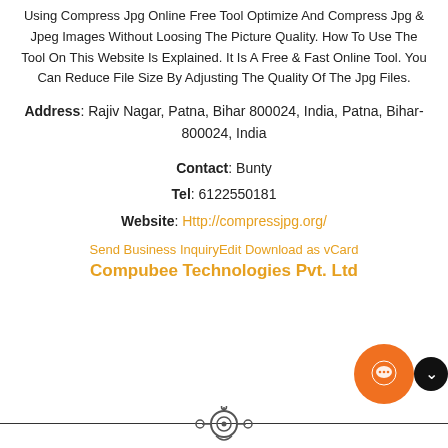Using Compress Jpg Online Free Tool Optimize And Compress Jpg & Jpeg Images Without Loosing The Picture Quality. How To Use The Tool On This Website Is Explained. It Is A Free & Fast Online Tool. You Can Reduce File Size By Adjusting The Quality Of The Jpg Files.
Address: Rajiv Nagar, Patna, Bihar 800024, India, Patna, Bihar-800024, India
Contact: Bunty
Tel: 6122550181
Website: Http://compressjpg.org/
Send Business InquiryEdit Download as vCard
Compubee Technologies Pvt. Ltd